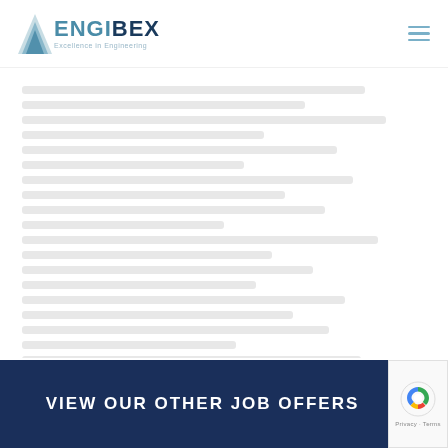[Figure (logo): ENGIBEX logo with tagline 'Excellence in Engineering']
[Figure (other): Hamburger menu icon (three horizontal lines)]
[Figure (other): Main page content area with faded/blurred text lines]
VIEW OUR OTHER JOB OFFERS
[Figure (other): reCAPTCHA badge with Privacy - Terms labels]